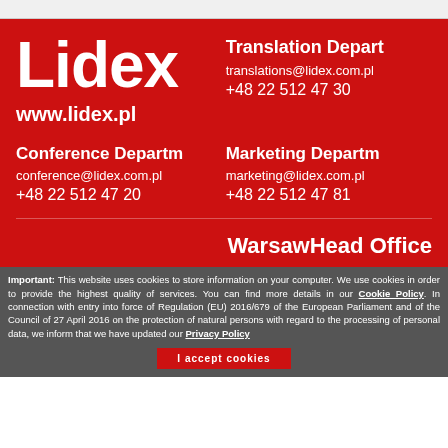Lidex
www.lidex.pl
Translation Department
translations@lidex.com.pl
+48 22 512 47 30
Conference Department
conference@lidex.com.pl
+48 22 512 47 20
Marketing Department
marketing@lidex.com.pl
+48 22 512 47 81
Warsaw Head Office
Important: This website uses cookies to store information on your computer. We use cookies in order to provide the highest quality of services. You can find more details in our Cookie Policy. In connection with entry into force of Regulation (EU) 2016/679 of the European Parliament and of the Council of 27 April 2016 on the protection of natural persons with regard to the processing of personal data, we inform that we have updated our Privacy Policy
I accept cookies